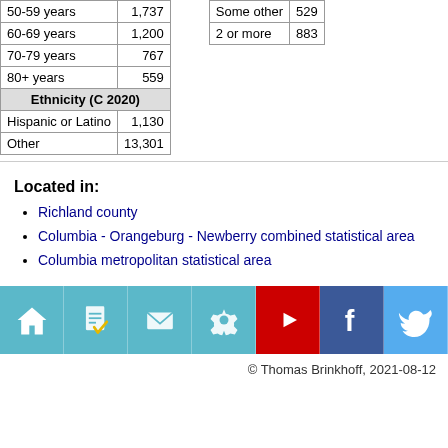|  |  |
| --- | --- |
| 50-59 years | 1,737 |
| 60-69 years | 1,200 |
| 70-79 years | 767 |
| 80+ years | 559 |
| Ethnicity (C 2020) |  |
| Hispanic or Latino | 1,130 |
| Other | 13,301 |
|  |  |
| --- | --- |
| Some other | 529 |
| 2 or more | 883 |
Located in:
Richland county
Columbia - Orangeburg - Newberry combined statistical area
Columbia metropolitan statistical area
[Figure (infographic): Icon bar with 7 icons: home, document/checklist, mail, settings/gear, YouTube play button (red background), Facebook (dark blue background), Twitter (light blue background)]
© Thomas Brinkhoff, 2021-08-12